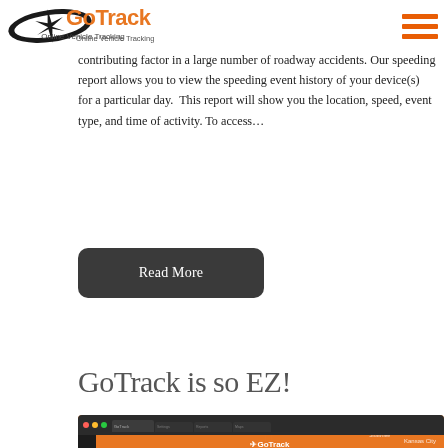[Figure (logo): GoTrack Online Vehicle Tracking logo with hamburger menu icon on the right]
Is Speeding An Issue for Your Drivers? Speeding continues to be a contributing factor in a large number of roadway accidents. Our speeding report allows you to view the speeding event history of your device(s) for a particular day. This report will show you the location, speed, event type, and time of activity. To access…
Read More
GoTrack is so EZ!
[Figure (screenshot): Screenshot of GoTrack web application showing a Mac browser with the GoTrack login page on an orange map background with a login dialog box in the center]